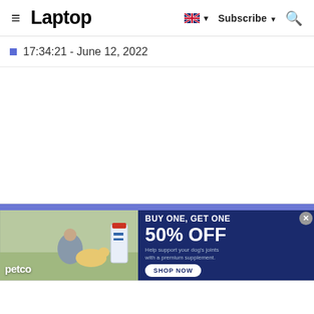Laptop — Subscribe
17:34:21 - June 12, 2022
[Figure (photo): Petco advertisement banner: BUY ONE, GET ONE 50% OFF. Help support your dog's joints with a premium supplement. SHOP NOW button. Image shows woman with golden retriever dog and supplement bottle.]